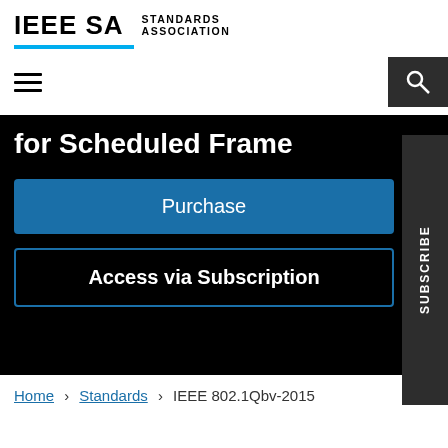[Figure (logo): IEEE SA Standards Association logo with cyan underbar]
[Figure (infographic): Navigation bar with hamburger menu icon on left and search icon (magnifying glass) on dark background on right]
for Scheduled Frame
Purchase
Access via Subscription
SUBSCRIBE
Home > Standards > IEEE 802.1Qbv-2015